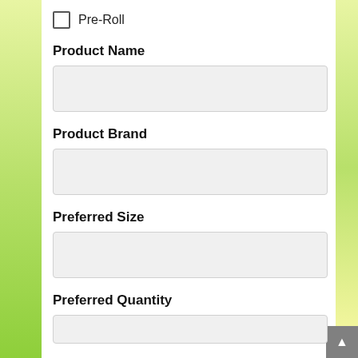Pre-Roll
Product Name
Product Brand
Preferred Size
Preferred Quantity